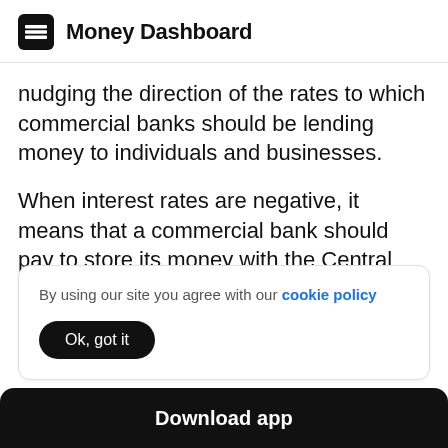Money Dashboard
nudging the direction of the rates to which commercial banks should be lending money to individuals and businesses.
When interest rates are negative, it means that a commercial bank should pay to store its money with the Central Bank. It is a strong
By using our site you agree with our cookie policy
Ok, got it
Download app